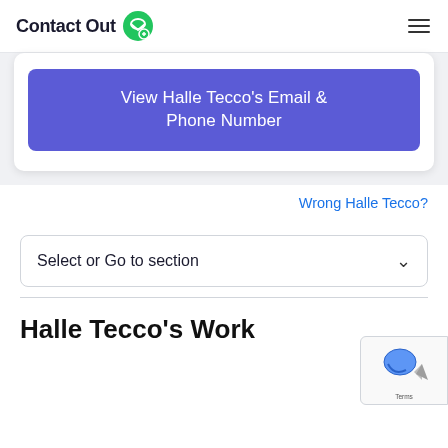Contact Out
View Halle Tecco's Email & Phone Number
Wrong Halle Tecco?
Select or Go to section
Halle Tecco's Work